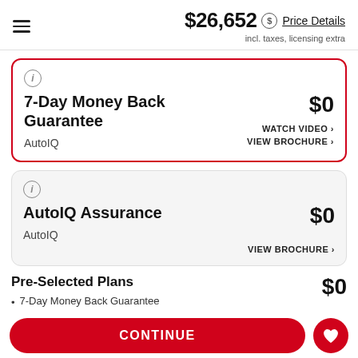$26,652 incl. taxes, licensing extra Price Details
7-Day Money Back Guarantee
AutoIQ
$0
WATCH VIDEO
VIEW BROCHURE
AutoIQ Assurance
AutoIQ
$0
VIEW BROCHURE
Pre-Selected Plans
$0
7-Day Money Back Guarantee